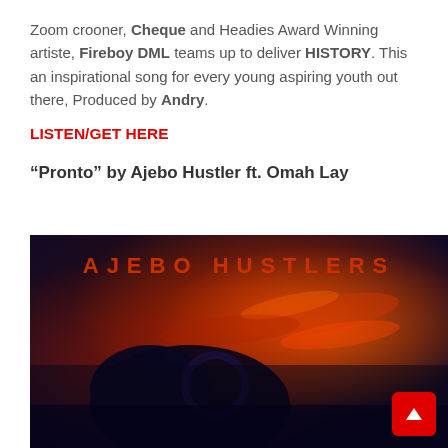Zoom crooner, Cheque and Headies Award Winning artiste, Fireboy DML teams up to deliver HISTORY. This an inspirational song for every young aspiring youth out there, Produced by Andry.
LISTEN/GET HERE
“Pronto” by Ajebo Hustler ft. Omah Lay
[Figure (photo): Album art for Ajebo Hustlers showing a person in a car with dark blue and red/orange lighting, with the text AJEBO HUSTLERS across the top in orange/red letters]